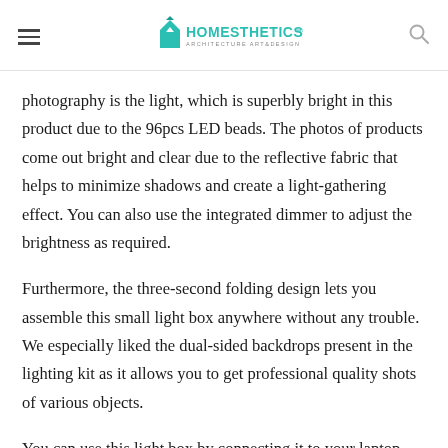Homesthetics — Architecture Art & Design
photography is the light, which is superbly bright in this product due to the 96pcs LED beads. The photos of products come out bright and clear due to the reflective fabric that helps to minimize shadows and create a light-gathering effect. You can also use the integrated dimmer to adjust the brightness as required.
Furthermore, the three-second folding design lets you assemble this small light box anywhere without any trouble. We especially liked the dual-sided backdrops present in the lighting kit as it allows you to get professional quality shots of various objects.
You can use this light box by connecting it to your laptop with the USB power cord, which is especially convenient